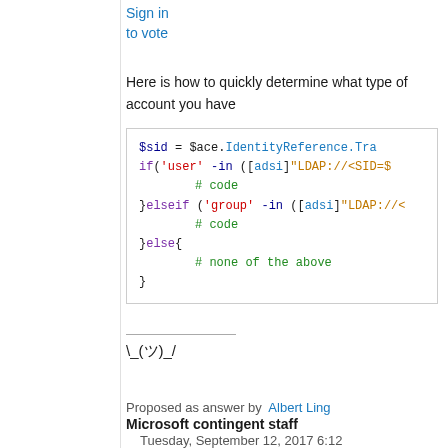Sign in
to vote
Here is how to quickly determine what type of account you have
[Figure (screenshot): Code block showing PowerShell/code snippet with syntax highlighting: $sid = $ace.IdentityReference.Tra... / if('user' -in ([adsi]"LDAP://<SID=$... / # code / }elseif ('group' -in ([adsi]"LDAP://< / # code / }else{ / # none of the above / }]
\_(ツ)_/
Proposed as answer by Albert Ling Microsoft contingent staff Tuesday, September 12, 2017 6:12 AM